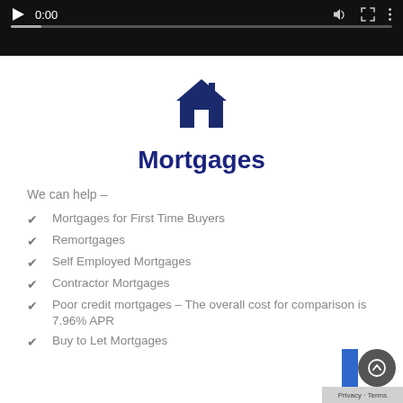[Figure (screenshot): Video player bar showing play button, 0:00 timestamp, speaker icon, fullscreen icon, and more options icon with a progress bar below on black background]
[Figure (illustration): Dark navy blue house/home icon]
Mortgages
We can help –
Mortgages for First Time Buyers
Remortgages
Self Employed Mortgages
Contractor Mortgages
Poor credit mortgages – The overall cost for comparison is 7.96% APR
Buy to Let Mortgages